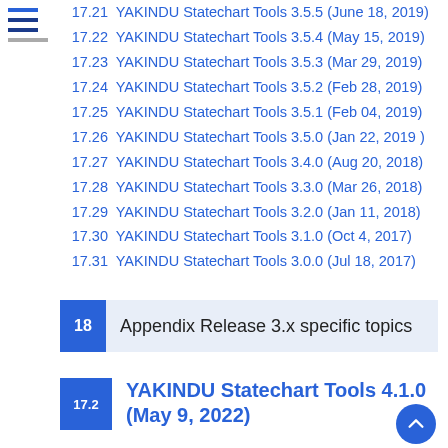17.21 YAKINDU Statechart Tools 3.5.5 (June 18, 2019)
17.22 YAKINDU Statechart Tools 3.5.4 (May 15, 2019)
17.23 YAKINDU Statechart Tools 3.5.3 (Mar 29, 2019)
17.24 YAKINDU Statechart Tools 3.5.2 (Feb 28, 2019)
17.25 YAKINDU Statechart Tools 3.5.1 (Feb 04, 2019)
17.26 YAKINDU Statechart Tools 3.5.0 (Jan 22, 2019 )
17.27 YAKINDU Statechart Tools 3.4.0 (Aug 20, 2018)
17.28 YAKINDU Statechart Tools 3.3.0 (Mar 26, 2018)
17.29 YAKINDU Statechart Tools 3.2.0 (Jan 11, 2018)
17.30 YAKINDU Statechart Tools 3.1.0 (Oct 4, 2017)
17.31 YAKINDU Statechart Tools 3.0.0 (Jul 18, 2017)
18 Appendix Release 3.x specific topics
17.2 YAKINDU Statechart Tools 4.1.0 (May 9, 2022)